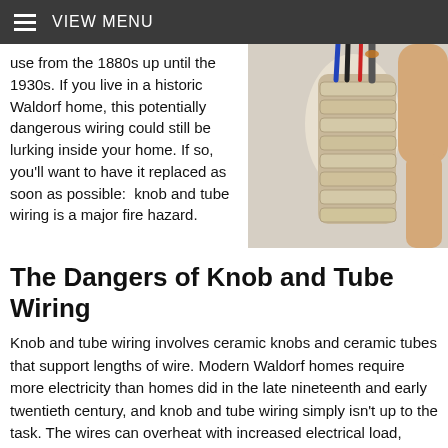VIEW MENU
use from the 1880s up until the 1930s. If you live in a historic Waldorf home, this potentially dangerous wiring could still be lurking inside your home. If so, you'll want to have it replaced as soon as possible:  knob and tube wiring is a major fire hazard.
[Figure (photo): Close-up photo of knob and tube wiring showing old wires with ceramic insulators and exposed copper conductors.]
The Dangers of Knob and Tube Wiring
Knob and tube wiring involves ceramic knobs and ceramic tubes that support lengths of wire. Modern Waldorf homes require more electricity than homes did in the late nineteenth and early twentieth century, and knob and tube wiring simply isn't up to the task. The wires can overheat with increased electrical load, risking an electrical fire. The wiring is also